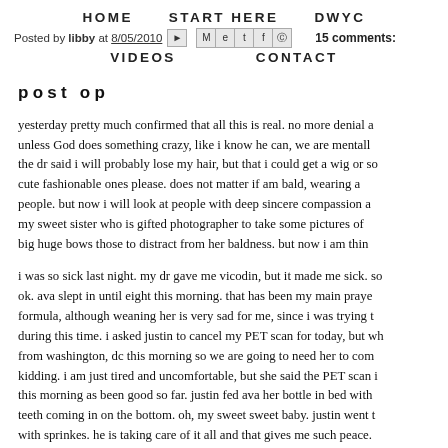HOME   START HERE   DWYC
Posted by libby at 8/05/2010  [email icon] [social icons]  15 comments:
VIDEOS   CONTACT
post op
yesterday pretty much confirmed that all this is real. no more denial a... unless God does something crazy, like i know he can, we are mentall... the dr said i will probably lose my hair, but that i could get a wig or so... cute fashionable ones please. does not matter if am bald, wearing a... people. but now i will look at people with deep sincere compassion a... my sweet sister who is gifted photographer to take some pictures of... big huge bows those to distract from her baldness. but now i am thin...
i was so sick last night. my dr gave me vicodin, but it made me sick. so... ok. ava slept in until eight this morning. that has been my main praye... formula, although weaning her is very sad for me, since i was trying t... during this time. i asked justin to cancel my PET scan for today, but wh... from washington, dc this morning so we are going to need her to com... kidding. i am just tired and uncomfortable, but she said the PET scan i... this morning as been good so far. justin fed ava her bottle in bed with... teeth coming in on the bottom. oh, my sweet sweet baby. justin went t... with sprinkes. he is taking care of it all and that gives me such peace.